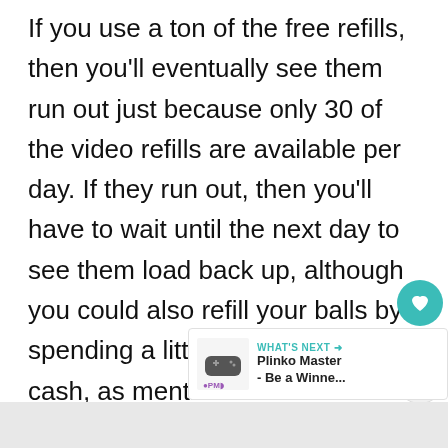If you use a ton of the free refills, then you'll eventually see them run out just because only 30 of the video refills are available per day. If they run out, then you'll have to wait until the next day to see them load back up, although you could also refill your balls by spending a little bit of the in-game cash, as mentioned above.
[Figure (infographic): WHAT'S NEXT arrow label with Plinko Master - Be a Winne... thumbnail and game controller icon]